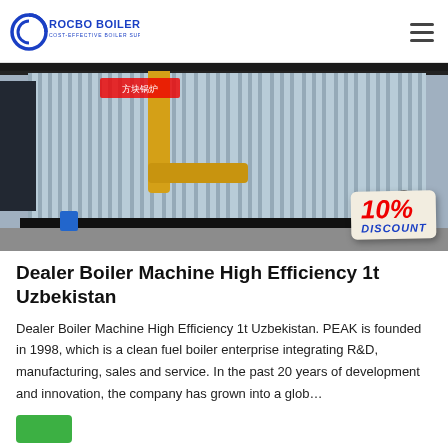ROCBO BOILER — COST-EFFECTIVE BOILER SUPPLIER
[Figure (photo): Industrial boiler unit with corrugated metal casing and yellow gas piping in a factory setting, with a 10% DISCOUNT badge overlay in the bottom right corner.]
Dealer Boiler Machine High Efficiency 1t Uzbekistan
Dealer Boiler Machine High Efficiency 1t Uzbekistan. PEAK is founded in 1998, which is a clean fuel boiler enterprise integrating R&D, manufacturing, sales and service. In the past 20 years of development and innovation, the company has grown into a glob...